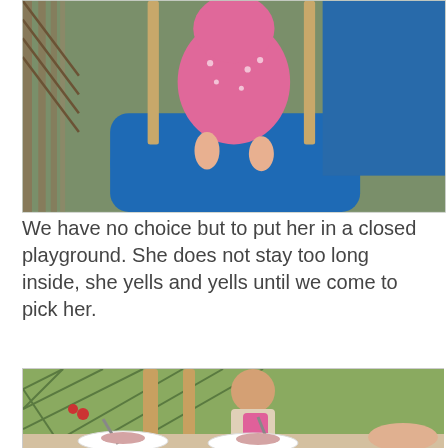[Figure (photo): A baby/toddler in a pink polka-dot outfit sitting in a blue cloth swing or seat, with green foliage visible in the background.]
We have no choice but to put her in a closed playground. She does not stay too long inside, she yells and yells until we come to pick her.
[Figure (photo): A toddler sitting in a high chair at a table, holding something pink/orange, with spoons and small portions of food on white plates in the foreground.]